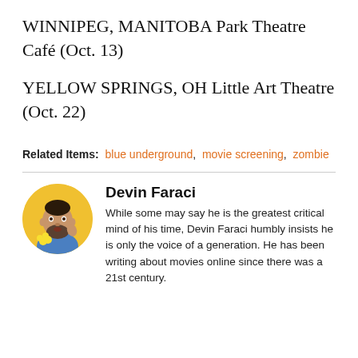WINNIPEG, MANITOBA Park Theatre Café (Oct. 13)
YELLOW SPRINGS, OH Little Art Theatre (Oct. 22)
Related Items: blue underground,  movie screening,  zombie
[Figure (photo): Circular portrait photo of Devin Faraci, a bearded man in a blue shirt holding yellow flowers, against a yellow background.]
Devin Faraci
While some may say he is the greatest critical mind of his time, Devin Faraci humbly insists he is only the voice of a generation. He has been writing about movies online since there was a 21st century.